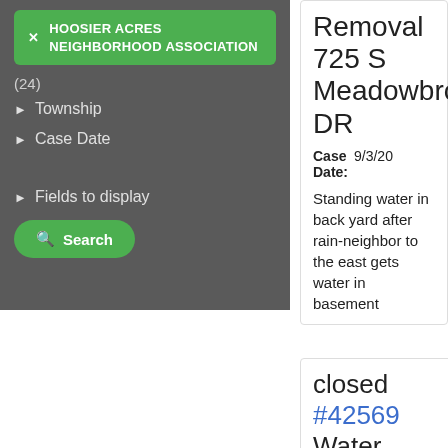HOOSIER ACRES NEIGHBORHOOD ASSOCIATION
(24)
Township
Case Date
Fields to display
Search
Removal 725 S Meadowbro DR
Case Date: 9/3/20
Standing water in back yard after rain-neighbor to the east gets water in basement
closed #42569 Water Utility